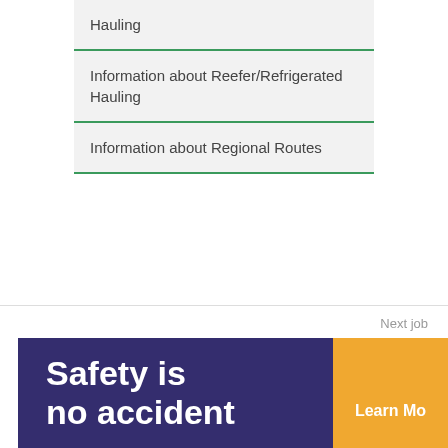Hauling
Information about Reefer/Refrigerated Hauling
Information about Regional Routes
Next job
CDL-A Owner Operator End Dump, Hopper Bottom, Pneumatic in Dallas, TX
[Figure (infographic): Dark navy/purple banner ad with white bold text 'Safety is no accident' and a yellow/orange 'Learn Mo[re]' button on the right, with a blurred truck/machinery image in background.]